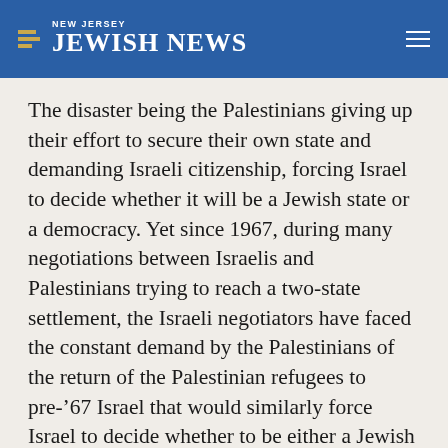NEW JERSEY JEWISH NEWS
The disaster being the Palestinians giving up their effort to secure their own state and demanding Israeli citizenship, forcing Israel to decide whether it will be a Jewish state or a democracy. Yet since 1967, during many negotiations between Israelis and Palestinians trying to reach a two-state settlement, the Israeli negotiators have faced the constant demand by the Palestinians of the return of the Palestinian refugees to pre-’67 Israel that would similarly force Israel to decide whether to be either a Jewish state or a democracy. Although this refugee resettlement demand existed prior to Israeli control of the West Bank, there was no expectation for the establishment of a Palestinian state in this territory